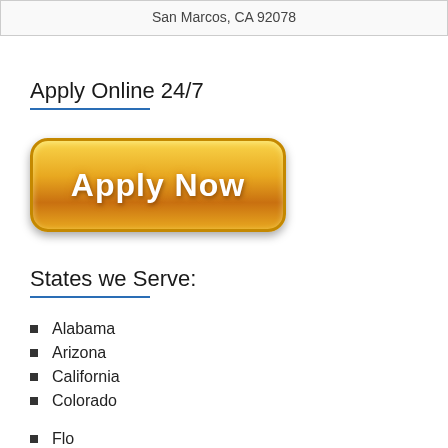San Marcos, CA 92078
Apply Online 24/7
[Figure (illustration): A large orange/gold glossy 'Apply Now' button with white bold text, rounded rectangle shape with gradient shading.]
States we Serve:
Alabama
Arizona
California
Colorado
Florida (partially visible)